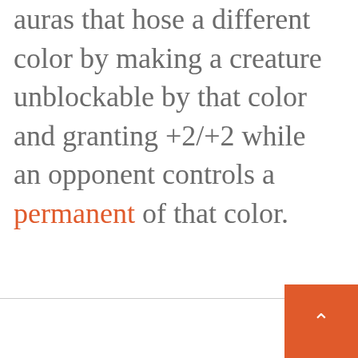auras that hose a different color by making a creature unblockable by that color and granting +2/+2 while an opponent controls a permanent of that color.
[Figure (other): Close button (circle with X) and orange scroll-to-top button with upward chevron arrow, positioned at bottom-right of page below a horizontal divider line.]